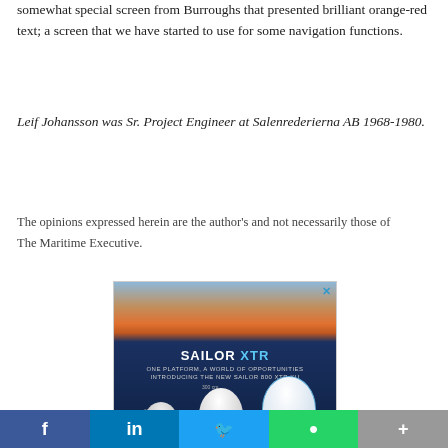somewhat special screen from Burroughs that presented brilliant orange-red text; a screen that we have started to use for some navigation functions.
Leif Johansson was Sr. Project Engineer at Salenrederierna AB 1968-1980.
The opinions expressed herein are the author's and not necessarily those of The Maritime Executive.
[Figure (screenshot): Advertisement for SAILOR XTR satellite communication system showing three dome-shaped antennas (60cm, 300cm, 80cm) against a sunset/ocean background. Text reads: SAILOR XTR - ONE PLATFORM, A WORLD OF OPPORTUNITIES - INTRODUCING THE NEW SAILOR 800 XTR KU]
[Figure (other): Social media sharing bar with Facebook, LinkedIn, Twitter, WhatsApp, and more buttons]